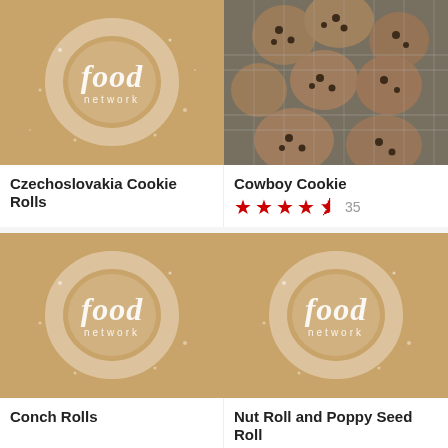[Figure (photo): Food Network logo on flour-dusted brown background]
Czechoslovakia Cookie Rolls
[Figure (photo): Overhead photo of chocolate chip cookies on a wire cooling rack]
Cowboy Cookie
★★★★½ 35
[Figure (photo): Food Network logo on flour-dusted brown background]
Conch Rolls
[Figure (photo): Food Network logo on flour-dusted brown background]
Nut Roll and Poppy Seed Roll
[Figure (photo): Target advertisement banner with children]